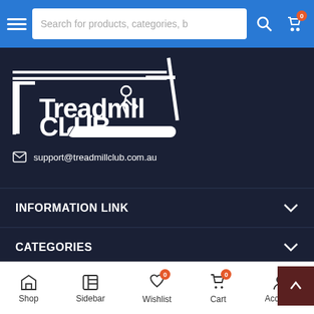Search for products, categories, b
[Figure (logo): Treadmill Club logo - white text/graphic on dark background showing a person running on a treadmill]
support@treadmillclub.com.au
INFORMATION LINK
CATEGORIES
CATEGORIES
Shop  Sidebar  Wishlist  Cart  Account